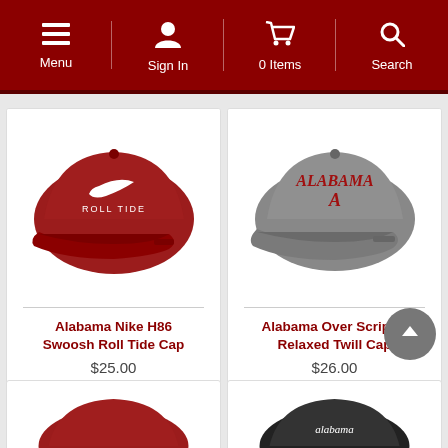Menu | Sign In | 0 Items | Search
[Figure (photo): Red Nike H86 Swoosh Roll Tide baseball cap with white Nike swoosh and 'ROLL TIDE' text]
Alabama Nike H86 Swoosh Roll Tide Cap
$25.00
[Figure (photo): Gray Alabama Over Script A Relaxed Twill Cap with 'ALABAMA' text and Script A logo in red]
Alabama Over Script A Relaxed Twill Cap
$26.00
[Figure (photo): Partially visible red Alabama cap at bottom left]
[Figure (photo): Partially visible black Alabama cap at bottom right]